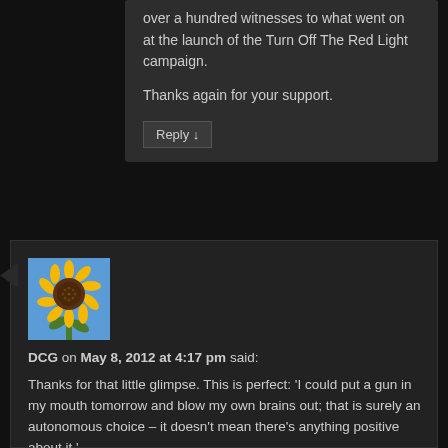over a hundred witnesses to what went on at the launch of the Turn Off The Red Light campaign.
Thanks again for your support.
Reply ↓
[Figure (photo): Avatar image of a sunflower against a blue sky]
DCG on May 8, 2012 at 4:17 pm said:
Thanks for that little glimpse. This is perfect: 'I could put a gun in my mouth tomorrow and blow my own brains out; that is surely an autonomous choice – it doesn't mean there's anything positive about it.'